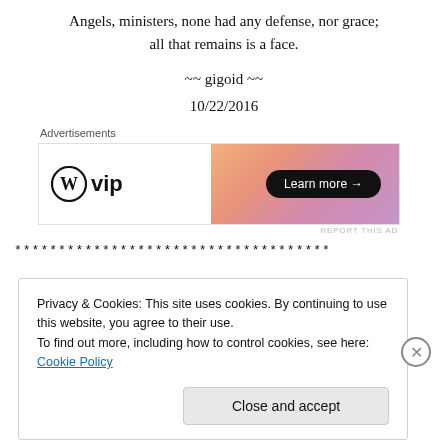Angels, ministers, none had any defense, nor grace;
all that remains is a face.
~~ gigoid ~~
10/22/2016
Advertisements
[Figure (other): WordPress VIP advertisement banner with gradient background and Learn more button]
************************************
Privacy & Cookies: This site uses cookies. By continuing to use this website, you agree to their use.
To find out more, including how to control cookies, see here: Cookie Policy
Close and accept